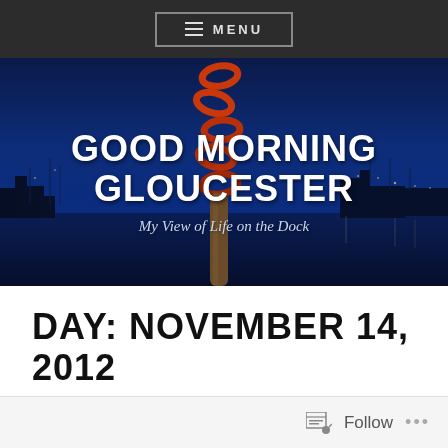≡ MENU
[Figure (photo): Hero banner with harbor at night/dusk, dark blue tones, chain hanging in foreground, with overlay text 'GOOD MORNING GLOUCESTER' and subtitle 'My View of Life on the Dock']
GOOD MORNING GLOUCESTER
My View of Life on the Dock
DAY: NOVEMBER 14, 2012
Follow ...